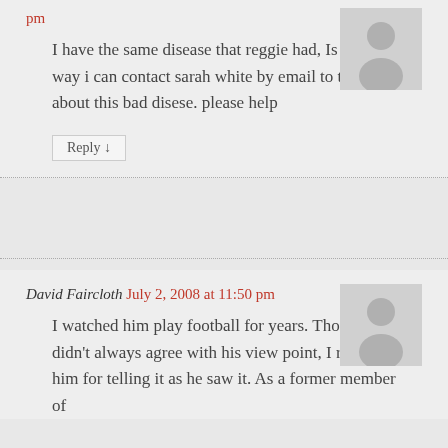pm
[Figure (illustration): Generic user avatar placeholder - grey silhouette of a person on light grey background]
I have the same disease that reggie had, Is their any way i can contact sarah white by email to talk to her about this bad disese. please help
Reply ↓
David Faircloth July 2, 2008 at 11:50 pm
[Figure (illustration): Generic user avatar placeholder - grey silhouette of a person on light grey background]
I watched him play football for years. Though I didn't always agree with his view point, I respected him for telling it as he saw it. As a former member of